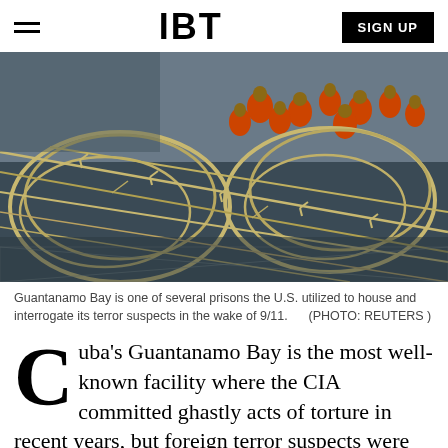IBT | SIGN UP
[Figure (photo): Aerial view of Guantanamo Bay detention facility showing prisoners in orange jumpsuits in a yard surrounded by barbed wire fencing]
Guantanamo Bay is one of several prisons the U.S. utilized to house and interrogate its terror suspects in the wake of 9/11.      (PHOTO: REUTERS )
Cuba's Guantanamo Bay is the most well-known facility where the CIA committed ghastly acts of torture in recent years, but foreign terror suspects were also subjected to beatings,